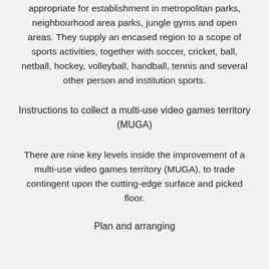appropriate for establishment in metropolitan parks, neighbourhood area parks, jungle gyms and open areas. They supply an encased region to a scope of sports activities, together with soccer, cricket, ball, netball, hockey, volleyball, handball, tennis and several other person and institution sports.
Instructions to collect a multi-use video games territory (MUGA)
There are nine key levels inside the improvement of a multi-use video games territory (MUGA), to trade contingent upon the cutting-edge surface and picked floor.
Plan and arranging